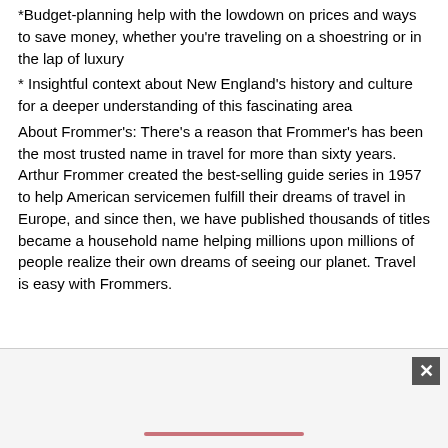*Budget-planning help with the lowdown on prices and ways to save money, whether you're traveling on a shoestring or in the lap of luxury
* Insightful context about New England's history and culture for a deeper understanding of this fascinating area
About Frommer's: There's a reason that Frommer's has been the most trusted name in travel for more than sixty years. Arthur Frommer created the best-selling guide series in 1957 to help American servicemen fulfill their dreams of travel in Europe, and since then, we have published thousands of titles became a household name helping millions upon millions of people realize their own dreams of seeing our planet. Travel is easy with Frommers.
[Figure (other): Advertisement banner at bottom of page with close button (X) and a pink/rose colored bar element]